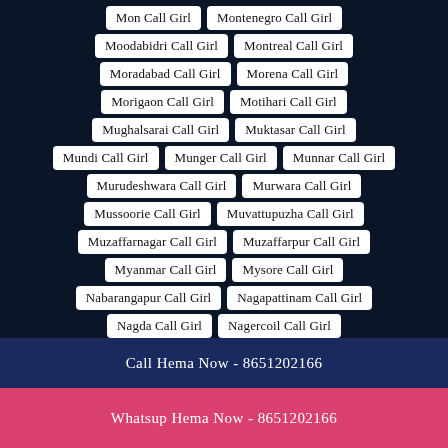Mon Call Girl
Montenegro Call Girl
Moodabidri Call Girl
Montreal Call Girl
Moradabad Call Girl
Morena Call Girl
Morigaon Call Girl
Motihari Call Girl
Mughalsarai Call Girl
Muktasar Call Girl
Mundi Call Girl
Munger Call Girl
Munnar Call Girl
Murudeshwara Call Girl
Murwara Call Girl
Mussoorie Call Girl
Muvattupuzha Call Girl
Muzaffarnagar Call Girl
Muzaffarpur Call Girl
Myanmar Call Girl
Mysore Call Girl
Nabarangapur Call Girl
Nagapattinam Call Girl
Nagda Call Girl
Nagercoil Call Girl
Nakhatrana Call Girl
Nalanda Call Girl
Call Hema Now - 8651202166
Whatsup Hema Now - 8651202166